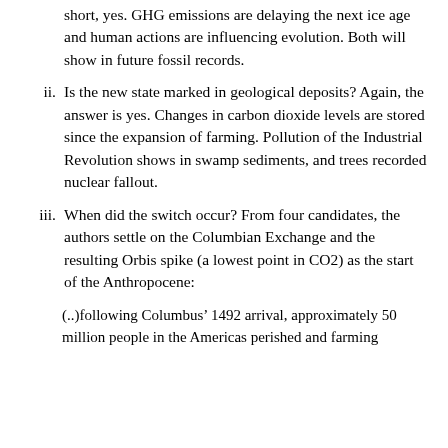short, yes. GHG emissions are delaying the next ice age and human actions are influencing evolution. Both will show in future fossil records.
ii. Is the new state marked in geological deposits? Again, the answer is yes. Changes in carbon dioxide levels are stored since the expansion of farming. Pollution of the Industrial Revolution shows in swamp sediments, and trees recorded nuclear fallout.
iii. When did the switch occur? From four candidates, the authors settle on the Columbian Exchange and the resulting Orbis spike (a lowest point in CO2) as the start of the Anthropocene:
(..)following Columbus’ 1492 arrival, approximately 50 million people in the Americas perished and farming